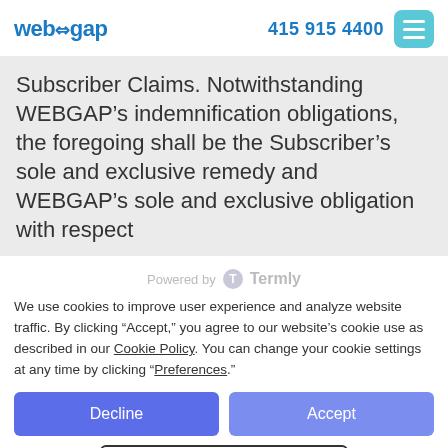web+gap  415 915 4400
Subscriber Claims. Notwithstanding WEBGAP’s indemnification obligations, the foregoing shall be the Subscriber’s sole and exclusive remedy and WEBGAP’s sole and exclusive obligation with respect
Powered by Termly
We use cookies to improve user experience and analyze website traffic. By clicking “Accept,” you agree to our website’s cookie use as described in our Cookie Policy. You can change your cookie settings at any time by clicking “Preferences.”
Decline  Accept  Preferences